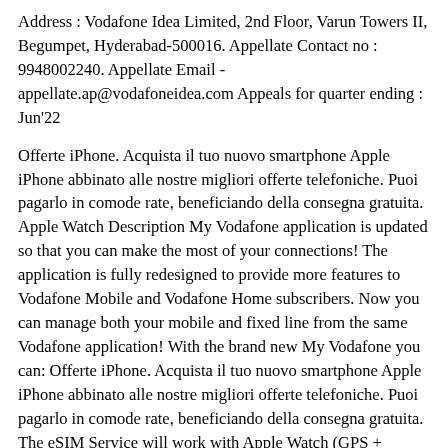Address : Vodafone Idea Limited, 2nd Floor, Varun Towers II, Begumpet, Hyderabad-500016. Appellate Contact no : 9948002240. Appellate Email - appellate.ap@vodafoneidea.com Appeals for quarter ending : Jun'22
Offerte iPhone. Acquista il tuo nuovo smartphone Apple iPhone abbinato alle nostre migliori offerte telefoniche. Puoi pagarlo in comode rate, beneficiando della consegna gratuita. Apple Watch Description My Vodafone application is updated so that you can make the most of your connections! The application is fully redesigned to provide more features to Vodafone Mobile and Vodafone Home subscribers. Now you can manage both your mobile and fixed line from the same Vodafone application! With the brand new My Vodafone you can: Offerte iPhone. Acquista il tuo nuovo smartphone Apple iPhone abbinato alle nostre migliori offerte telefoniche. Puoi pagarlo in comode rate, beneficiando della consegna gratuita. The eSIM Service will work with Apple Watch (GPS + Cellular) models A2156, A2157, A2007, A2008, A1889,A1891, A2375, A2376, A2355, A2356. Apple Watch (GPS + Cellular) pairing and account transfer is available to Vodafone Postpaid customers only. You can pair up to two Apple Watches to your phone but only one Apple Watch will be connected to your ...Manage your organization's devices, apps, and accounts.Vodafone's Apple Reseller ID. 26-01-2015 01:04 PM. Hi, Like many organisations may eventually utilise, we have decided